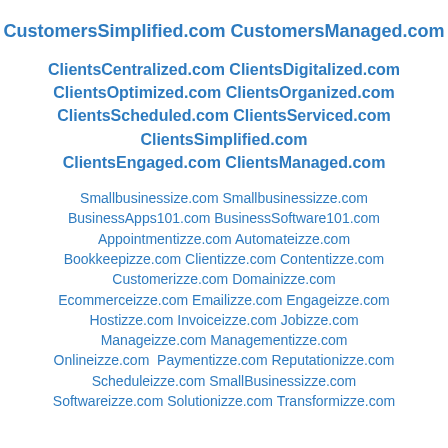CustomersSimplified.com CustomersManaged.com
ClientsCentralized.com ClientsDigitalized.com ClientsOptimized.com ClientsOrganized.com ClientsScheduled.com ClientsServiced.com ClientsSimplified.com ClientsEngaged.com ClientsManaged.com
Smallbusinessize.com Smallbusinessizze.com BusinessApps101.com BusinessSoftware101.com Appointmentizze.com Automateizze.com Bookkeepizze.com Clientizze.com Contentizze.com Customerizze.com Domainizze.com Ecommerceizze.com Emailizze.com Engageizze.com Hostizze.com Invoiceizze.com Jobizze.com Manageizze.com Managementizze.com Onlineizze.com Paymentizze.com Reputationizze.com Scheduleizze.com SmallBusinessizze.com Softwareizze.com Solutionizze.com Transformizze.com